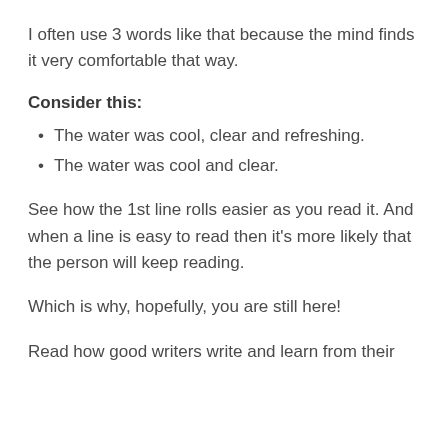I often use 3 words like that because the mind finds it very comfortable that way.
Consider this:
The water was cool, clear and refreshing.
The water was cool and clear.
See how the 1st line rolls easier as you read it. And when a line is easy to read then it's more likely that the person will keep reading.
Which is why, hopefully, you are still here!
Read how good writers write and learn from their